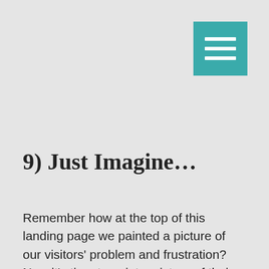[Figure (other): Teal/turquoise hamburger menu button with three white horizontal lines, positioned in top-right corner]
9) Just Imagine…
Remember how at the top of this landing page we painted a picture of our visitors' problem and frustration? Now it's time to paint a picture of their cure. What will it feel like? What changes will they experience in